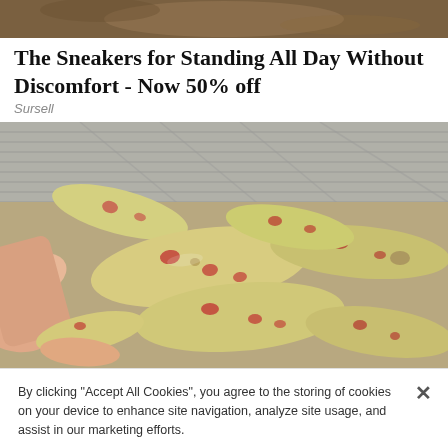[Figure (photo): Top portion of advertisement image, cropped, brown/tan tones]
The Sneakers for Standing All Day Without Discomfort - Now 50% off
Sursell
[Figure (photo): Close-up photo of small yellow-white fingerling potatoes with pink/red spots, held in hands, placed in a metal tray/basket]
By clicking "Accept All Cookies", you agree to the storing of cookies on your device to enhance site navigation, analyze site usage, and assist in our marketing efforts.
Cookies Settings
Accept All Cookies